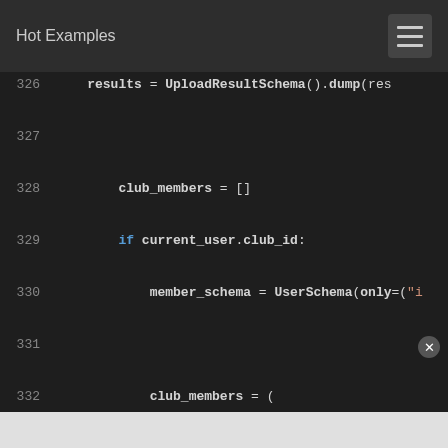Hot Examples
[Figure (screenshot): Code editor screenshot showing Python code lines 326-341 with syntax highlighting. Code includes club_members list initialization, if statement checking current_user.club_id, UserSchema instantiation, User.query with club_id filter, order_by with func.lower, filter excluding current user, member_schema.dump call, and aircraft_models query beginning.]